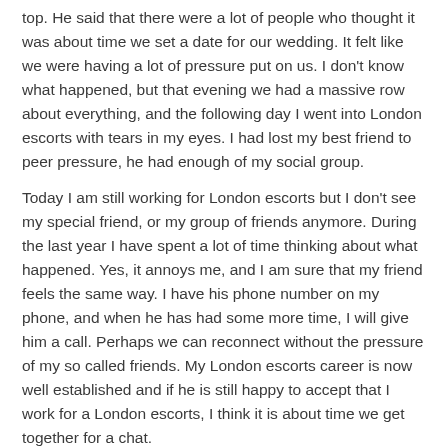top. He said that there were a lot of people who thought it was about time we set a date for our wedding. It felt like we were having a lot of pressure put on us. I don't know what happened, but that evening we had a massive row about everything, and the following day I went into London escorts with tears in my eyes. I had lost my best friend to peer pressure, he had enough of my social group.
Today I am still working for London escorts but I don't see my special friend, or my group of friends anymore. During the last year I have spent a lot of time thinking about what happened. Yes, it annoys me, and I am sure that my friend feels the same way. I have his phone number on my phone, and when he has had some more time, I will give him a call. Perhaps we can reconnect without the pressure of my so called friends. My London escorts career is now well established and if he is still happy to accept that I work for a London escorts, I think it is about time we get together for a chat.